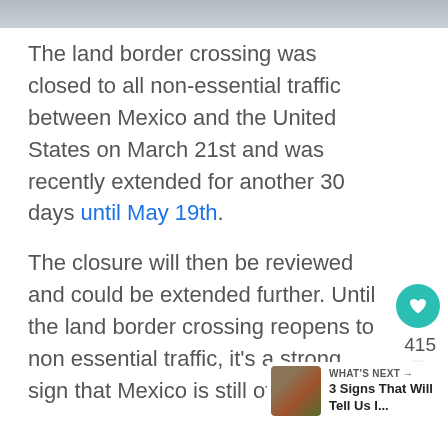[Figure (photo): Partial image of a border crossing or outdoor scene visible at the very top of the page]
The land border crossing was closed to all non-essential traffic between Mexico and the United States on March 21st and was recently extended for another 30 days until May 19th.
The closure will then be reviewed and could be extended further. Until the land border crossing reopens to non essential traffic, it's a strong sign that Mexico is still off-limits.
415
WHAT'S NEXT → 3 Signs That Will Tell Us I...